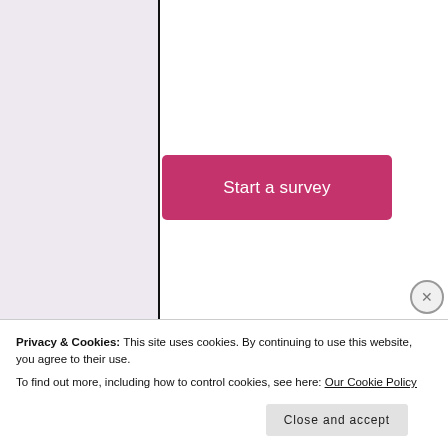[Figure (screenshot): A webpage screenshot showing a 'Start a survey' button in pink/crimson on a white panel with vertical black borders, with partial WordPress and CrowdSignal logos visible at the bottom.]
[Figure (logo): CrowdSignal logo - circular dotted border with cyan/teal text reading CROWD SIGNAL in stylized font]
Privacy & Cookies: This site uses cookies. By continuing to use this website, you agree to their use.
To find out more, including how to control cookies, see here: Our Cookie Policy
Close and accept